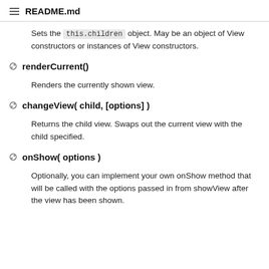README.md
Sets the this.children object. May be an object of View constructors or instances of View constructors.
renderCurrent()
Renders the currently shown view.
changeView( child, [options] )
Returns the child view. Swaps out the current view with the child specified.
onShow( options )
Optionally, you can implement your own onShow method that will be called with the options passed in from showView after the view has been shown.